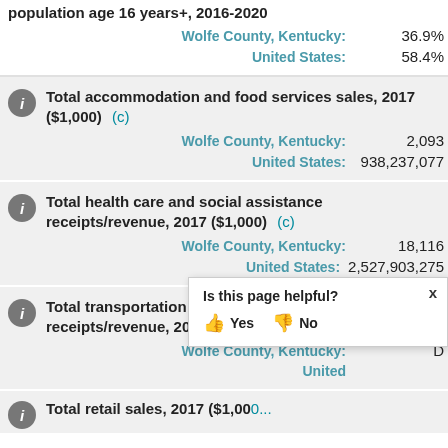population age 16 years+, 2016-2020
Wolfe County, Kentucky: 36.9%
United States: 58.4%
Total accommodation and food services sales, 2017 ($1,000) (c)
Wolfe County, Kentucky: 2,093
United States: 938,237,077
Total health care and social assistance receipts/revenue, 2017 ($1,000) (c)
Wolfe County, Kentucky: 18,116
United States: 2,527,903,275
Total transportation and warehousing receipts/revenue, 2017 ($1,000) (c)
Wolfe County, Kentucky: D
United States: [popup obscured]
Total retail sales, 2017 ($1,000)